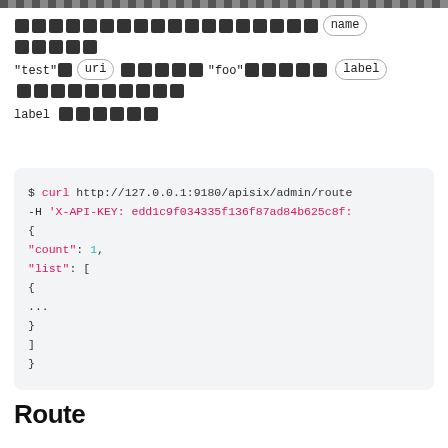[redacted text with ghost icons] name [ghosts] "test" uri [ghosts] "foo" [ghosts] label [ghosts] label [ghosts]
$ curl http://127.0.0.1:9180/apisix/admin/route
-H 'X-API-KEY: edd1c9f034335f136f87ad84b625c8f:
{
    "count": 1,
    "list": [
        {
            ...
        }
    ]
}
Route